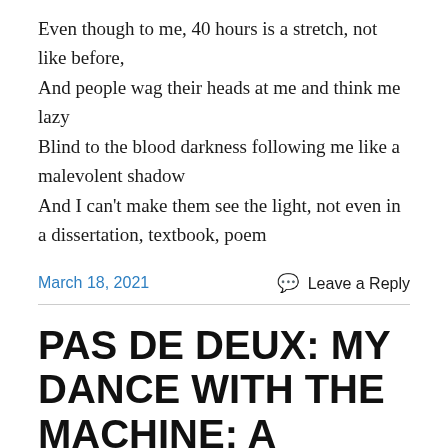Even though to me, 40 hours is a stretch, not like before,
And people wag their heads at me and think me lazy
Blind to the blood darkness following me like a malevolent shadow
And I can't make them see the light, not even in a dissertation, textbook, poem
March 18, 2021
Leave a Reply
PAS DE DEUX: MY DANCE WITH THE MACHINE: A COMEDY IN THREE ACTS
Any More Than The Way Things Are
My Irish-Catholic friend published a book